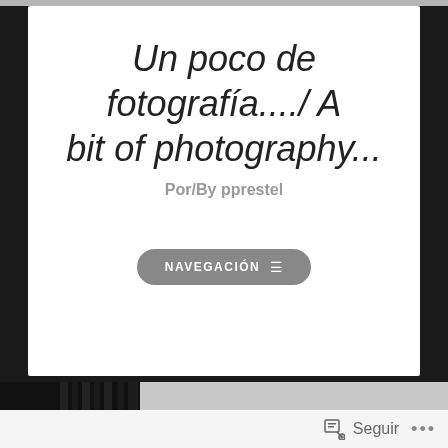Un poco de fotografía..../ A bit of photography...
Por/By pprestel
NAVEGACIÓN ≡
[Figure (photo): Black and white photograph of Florence cityscape showing the Duomo cathedral dome in the background, with two people viewed from behind in the foreground looking at the city]
Seguir